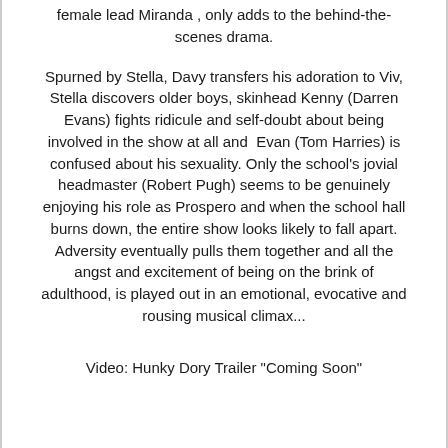female lead Miranda , only adds to the behind-the-scenes drama.
Spurned by Stella, Davy transfers his adoration to Viv, Stella discovers older boys, skinhead Kenny (Darren Evans) fights ridicule and self-doubt about being involved in the show at all and  Evan (Tom Harries) is confused about his sexuality. Only the school's jovial headmaster (Robert Pugh) seems to be genuinely enjoying his role as Prospero and when the school hall burns down, the entire show looks likely to fall apart. Adversity eventually pulls them together and all the angst and excitement of being on the brink of adulthood, is played out in an emotional, evocative and rousing musical climax...
Video: Hunky Dory Trailer "Coming Soon"